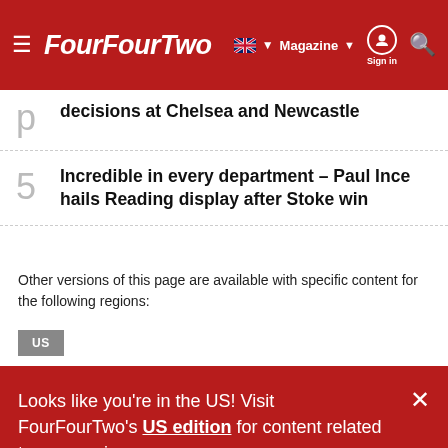FourFourTwo – Magazine – Sign in
decisions at Chelsea and Newcastle
Incredible in every department – Paul Ince hails Reading display after Stoke win
Other versions of this page are available with specific content for the following regions:
US
Looks like you're in the US! Visit FourFourTwo's US edition for content related to your region.